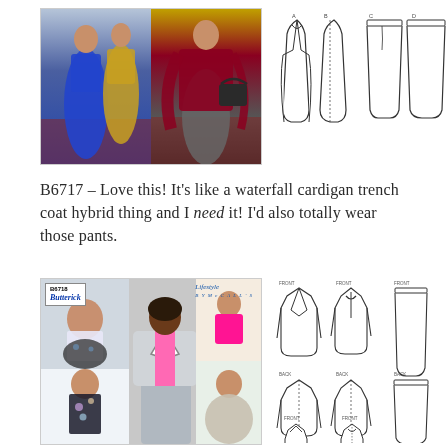[Figure (photo): Fashion photo showing two women: one in blue wide-leg pants with a belted blue top, one in a dark red waterfall cardigan/trench coat hybrid with gray wide-leg pants and a handbag, standing on a patterned rug]
[Figure (illustration): Technical sewing pattern line drawings for B6717: front and back views of a long waterfall cardigan/trench coat and wide-leg pants]
B6717 – Love this! It's like a waterfall cardigan trench coat hybrid thing and I need it! I'd also totally wear those pants.
[Figure (photo): Butterick B6718 pattern envelope showing fashion photos of women wearing a blazer/jacket, top, and pants/skirt combinations in gray and pink/floral fabrics with Lifestyle by McCall's branding]
[Figure (illustration): Technical sewing pattern line drawings for B6718: front/back views of a blazer (fronts, back, back with lining), a sleeveless top, and wide-leg pants]